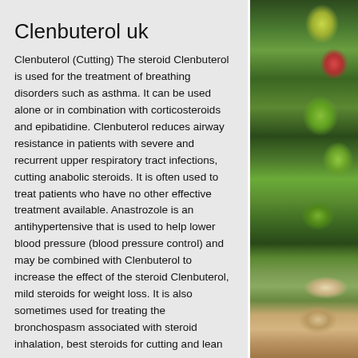Clenbuterol uk
Clenbuterol (Cutting) The steroid Clenbuterol is used for the treatment of breathing disorders such as asthma. It can be used alone or in combination with corticosteroids and epibatidine. Clenbuterol reduces airway resistance in patients with severe and recurrent upper respiratory tract infections, cutting anabolic steroids. It is often used to treat patients who have no other effective treatment available. Anastrozole is an antihypertensive that is used to help lower blood pressure (blood pressure control) and may be combined with Clenbuterol to increase the effect of the steroid Clenbuterol, mild steroids for weight loss. It is also sometimes used for treating the bronchospasm associated with steroid inhalation, best steroids for cutting and lean...
[Figure (photo): Right side decorative photo of fruits and vegetables including green apples and what appears to be a bowl of food, with dark blue fabric/cloth visible]